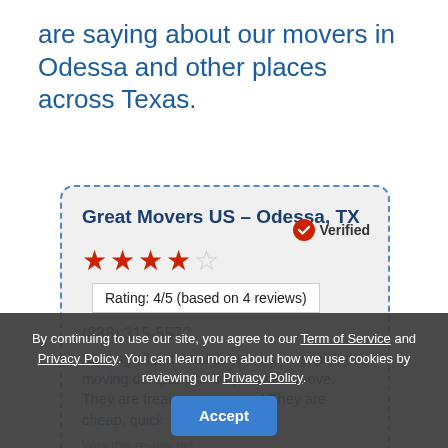are saying about our movers in Odessa and other places across Texas.
[Figure (screenshot): Review card for Great Movers US - Odessa, TX with verified badge, 4/5 star rating, phone number (888) 315-5572, and a customer review quote.]
By continuing to use our site, you agree to our Term of Service and Privacy Policy. You can learn more about how we use cookies by reviewing our Privacy Policy.